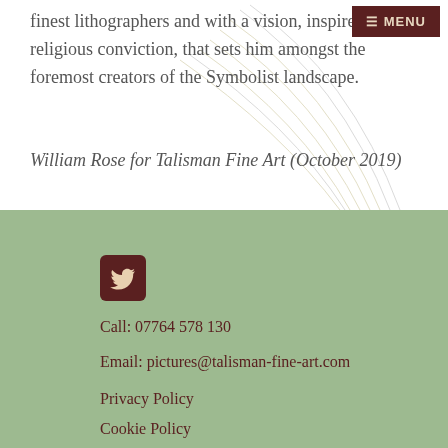≡ MENU
finest lithographers and with a vision, inspired by his religious conviction, that sets him amongst the foremost creators of the Symbolist landscape.
William Rose for Talisman Fine Art (October 2019)
[Figure (illustration): Twitter bird icon in a rounded dark red/maroon square]
Call: 07764 578 130
Email: pictures@talisman-fine-art.com
Privacy Policy
Cookie Policy